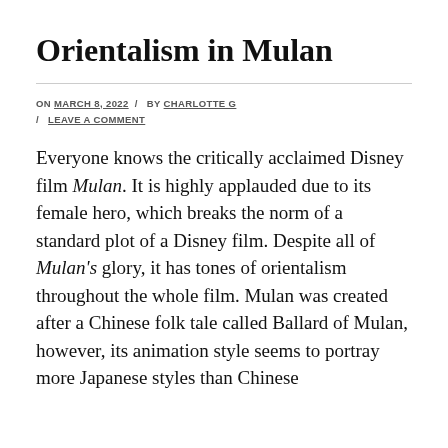Orientalism in Mulan
ON MARCH 8, 2022 / BY CHARLOTTE G / LEAVE A COMMENT
Everyone knows the critically acclaimed Disney film Mulan. It is highly applauded due to its female hero, which breaks the norm of a standard plot of a Disney film. Despite all of Mulan's glory, it has tones of orientalism throughout the whole film. Mulan was created after a Chinese folk tale called Ballard of Mulan, however, its animation style seems to portray more Japanese styles than Chinese